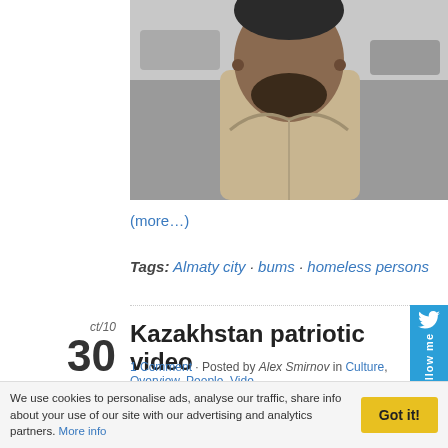[Figure (photo): Cropped photo of a man with a beard wearing a beige jacket, street scene in background]
(more…)
Tags: Almaty city · bums · homeless persons
Kazakhstan patriotic video
1 Comment · Posted by Alex Smirnov in Culture, Overview, People, Video
Main message of the video – "Together we are Kazakhstan"
We use cookies to personalise ads, analyse our traffic, share info about your use of our site with our advertising and analytics partners. More info
Got it!